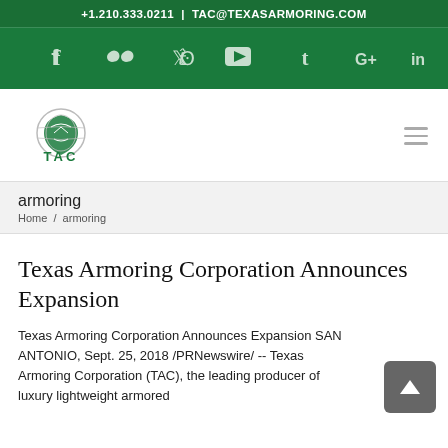+1.210.333.0211 | TAC@TEXASARMORING.COM
[Figure (other): Social media icons bar: Facebook, Flickr, Twitter, YouTube, Tumblr, Google+, LinkedIn on green background]
[Figure (logo): Texas Armoring Corporation (TAC) logo: globe with shield and TAC text in green]
armoring
Home / armoring
Texas Armoring Corporation Announces Expansion
Texas Armoring Corporation Announces Expansion SAN ANTONIO, Sept. 25, 2018 /PRNewswire/ -- Texas Armoring Corporation (TAC), the leading producer of luxury lightweight armored